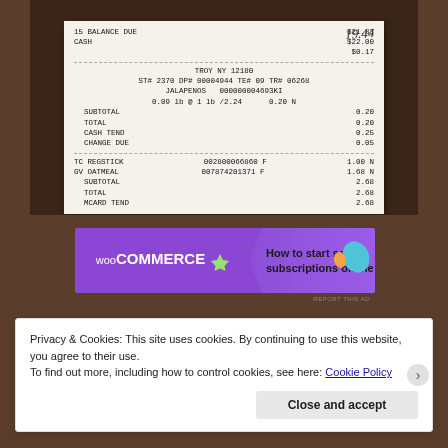[Figure (photo): Photograph of store receipts on a dark brown surface. Two receipt segments visible. First segment shows: TROY NY 12180, ST# 2370 DP# 00004944 TE# 09 TR# 06268, JALAPENOS 000000004693KI, 0.09 lb @ 1 lb /2.24, 0.20 N, SUBTOTAL 0.20, TOTAL 0.20, CASH TEND 0.25, CHANGE DUE 0.05. Also shows 15 BALANCE DUE $21.83, CASH $22.00, $0.17, and handwritten 19.44. Second segment shows: TC REGSTICK 002800066860 F 1.00 N, GV OATMEAL 007874201371 F 1.68 N, SUBTOTAL 2.68, TOTAL 2.68, MCARD TEND 2.68, ACCOUNT # **** **** **** 9266]
[Figure (screenshot): WooCommerce advertisement banner. Purple background on left with WooCommerce logo and checkmark icon. White right side with text 'How to start selling subscriptions online' and decorative leaf shapes.]
REPORT THIS AD
Privacy & Cookies: This site uses cookies. By continuing to use this website, you agree to their use.
To find out more, including how to control cookies, see here: Cookie Policy
Close and accept